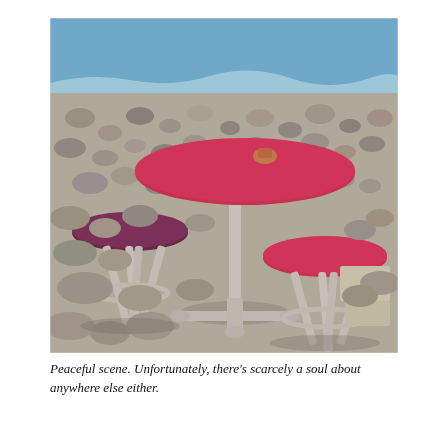[Figure (photo): Outdoor beach scene with a round red-topped high table on a single metal pedestal with a cross base, and two bar stools with round seats (one dark purple/maroon on the left, one red on the right) on a rocky pebble beach near the water.]
Peaceful scene. Unfortunately, there's scarcely a soul about anywhere else either.